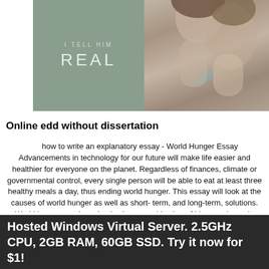[Figure (illustration): Book cover split into two halves: left half shows sage green background with text 'I TELL HIM REAL', right half shows a romantic couple photo in muted warm tones]
Online edd without dissertation
how to write an explanatory essay - World Hunger Essay Advancements in technology for our future will make life easier and healthier for everyone on the planet. Regardless of finances, climate or governmental control, every single person will be able to eat at least three healthy meals a day, thus ending world hunger. This essay will look at the causes of world hunger as well as short-term, and long-term, solutions. World hunger can be solved using a combination of ideas and people working together. In the first world there are 9 million people suffering from hunger. Apr 11, ... d with, if you would look at non-partisan look at World hunger then keep reading. *** Hunger
Hosted Windows Virtual Server. 2.5GHz CPU, 2GB RAM, 60GB SSD. Try it now for $1!